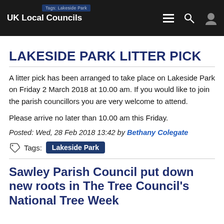UK Local Councils
LAKESIDE PARK LITTER PICK
A litter pick has been arranged to take place on Lakeside Park on Friday 2 March 2018 at 10.00 am. If you would like to join the parish councillors you are very welcome to attend.
Please arrive no later than 10.00 am this Friday.
Posted: Wed, 28 Feb 2018 13:42 by Bethany Colegate
Tags: Lakeside Park
Sawley Parish Council put down new roots in The Tree Council's National Tree Week